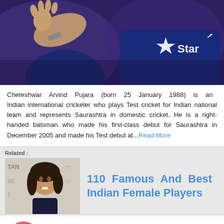[Figure (photo): Cricket players in navy blue India national team jerseys with Star sponsor logo; one player gesturing with hand raised]
Cheteshwar Arvind Pujara (born 25 January 1988) is an Indian international cricketer who plays Test cricket for Indian national team and represents Saurashtra in domestic cricket. He is a right-handed batsman who made his first-class debut for Saurashtra in December 2005 and made his Test debut at...Read More
Related :
[Figure (photo): Portrait photo of an Indian female athlete smiling, in front of a TAN/SE branded backdrop]
110 Famous And Best Indian Female Players
Sir Garfield Sobers
0 Votes